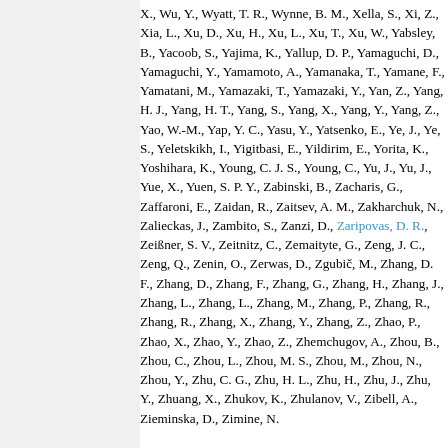X., Wu, Y., Wyatt, T. R., Wynne, B. M., Xella, S., Xi, Z., Xia, L., Xu, D., Xu, H., Xu, L., Xu, T., Xu, W., Yabsley, B., Yacoob, S., Yajima, K., Yallup, D. P., Yamaguchi, D., Yamaguchi, Y., Yamamoto, A., Yamanaka, T., Yamane, F., Yamatani, M., Yamazaki, T., Yamazaki, Y., Yan, Z., Yang, H. J., Yang, H. T., Yang, S., Yang, X., Yang, Y., Yang, Z., Yao, W.-M., Yap, Y. C., Yasu, Y., Yatsenko, E., Ye, J., Ye, S., Yeletskikh, I., Yigitbasi, E., Yildirim, E., Yorita, K., Yoshihara, K., Young, C. J. S., Young, C., Yu, J., Yu, J., Yue, X., Yuen, S. P. Y., Zabinski, B., Zacharis, G., Zaffaroni, E., Zaidan, R., Zaitsev, A. M., Zakharchuk, N., Zalieckas, J., Zambito, S., Zanzi, D., Zaripovas, D. R., Zeißner, S. V., Zeitnitz, C., Zemaityte, G., Zeng, J. C., Zeng, Q., Zenin, O., Zerwas, D., Zgubič, M., Zhang, D. F., Zhang, D., Zhang, F., Zhang, G., Zhang, H., Zhang, J., Zhang, L., Zhang, L., Zhang, M., Zhang, P., Zhang, R., Zhang, R., Zhang, X., Zhang, Y., Zhang, Z., Zhao, P., Zhao, X., Zhao, Y., Zhao, Z., Zhemchugov, A., Zhou, B., Zhou, C., Zhou, L., Zhou, M. S., Zhou, M., Zhou, N., Zhou, Y., Zhu, C. G., Zhu, H. L., Zhu, H., Zhu, J., Zhu, Y., Zhuang, X., Zhukov, K., Zhulanov, V., Zibell, A., Zieminska, D., Zimine, N.